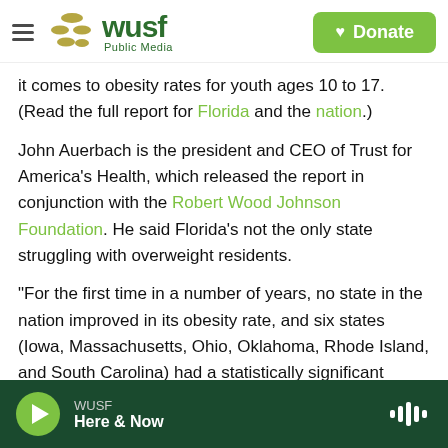WUSF Public Media — Donate
it comes to obesity rates for youth ages 10 to 17. (Read the full report for Florida and the nation.)
John Auerbach is the president and CEO of Trust for America's Health, which released the report in conjunction with the Robert Wood Johnson Foundation. He said Florida's not the only state struggling with overweight residents.
"For the first time in a number of years, no state in the nation improved in its obesity rate, and six states (Iowa, Massachusetts, Ohio, Oklahoma, Rhode Island, and South Carolina) had a statistically significant increase in their obesity
WUSF — Here & Now